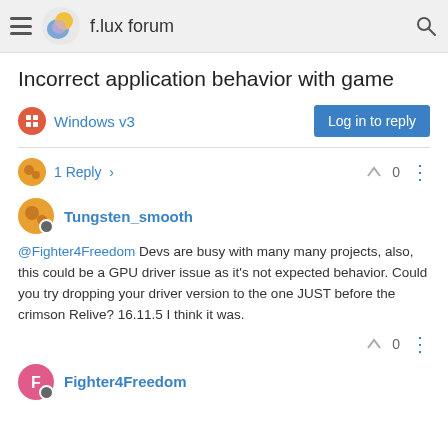f.lux forum
Incorrect application behavior with game
Windows v3
Log in to reply
1 Reply >
0
Tungsten_smooth
@Fighter4Freedom Devs are busy with many many projects, also, this could be a GPU driver issue as it's not expected behavior. Could you try dropping your driver version to the one JUST before the crimson Relive? 16.11.5 I think it was.
0
Fighter4Freedom